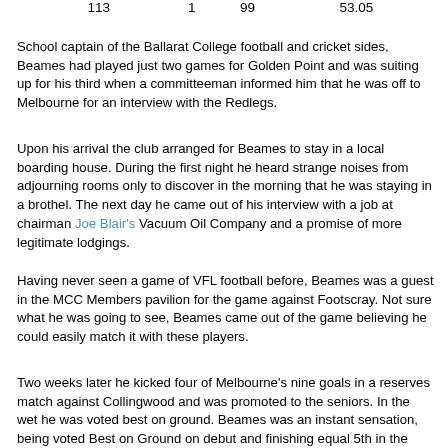| 113 | 1 | 99 | 53.05 |
School captain of the Ballarat College football and cricket sides, Beames had played just two games for Golden Point and was suiting up for his third when a committeeman informed him that he was off to Melbourne for an interview with the Redlegs.
Upon his arrival the club arranged for Beames to stay in a local boarding house. During the first night he heard strange noises from adjourning rooms only to discover in the morning that he was staying in a brothel. The next day he came out of his interview with a job at chairman Joe Blair's Vacuum Oil Company and a promise of more legitimate lodgings.
Having never seen a game of VFL football before, Beames was a guest in the MCC Members pavilion for the game against Footscray. Not sure what he was going to see, Beames came out of the game believing he could easily match it with these players.
Two weeks later he kicked four of Melbourne's nine goals in a reserves match against Collingwood and was promoted to the seniors. In the wet he was voted best on ground. Beames was an instant sensation, being voted Best on Ground on debut and finishing equal 5th in the 1931 Brownlow Medal despite only having